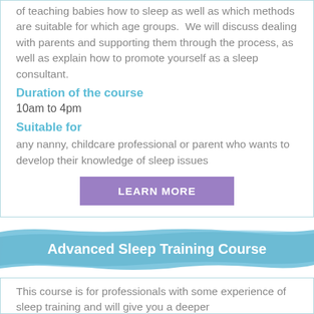of teaching babies how to sleep as well as which methods are suitable for which age groups. We will discuss dealing with parents and supporting them through the process, as well as explain how to promote yourself as a sleep consultant.
Duration of the course
10am to 4pm
Suitable for
any nanny, childcare professional or parent who wants to develop their knowledge of sleep issues
LEARN MORE
Advanced Sleep Training Course
This course is for professionals with some experience of sleep training and will give you a deeper